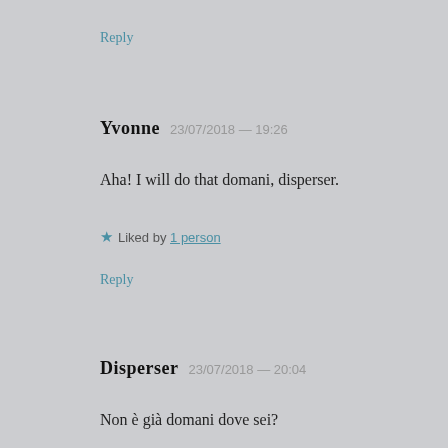Reply
YVONNE  23/07/2018 — 19:26
Aha! I will do that domani, disperser.
★ Liked by 1 person
Reply
DISPERSER  23/07/2018 — 20:04
Non è già domani dove sei?